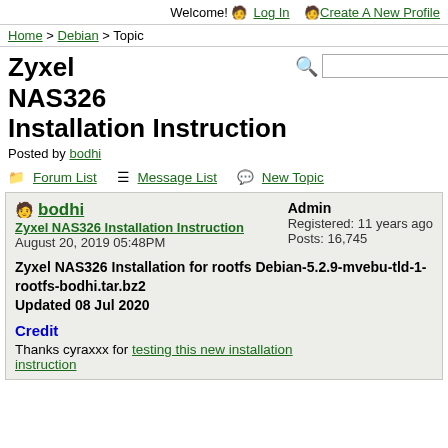Welcome! Log In  Create A New Profile
Home > Debian > Topic
Zyxel NAS326 Installation Instruction
Posted by bodhi
Forum List  Message List  New Topic
bodhi
Admin
Registered: 11 years ago
Posts: 16,745
Zyxel NAS326 Installation Instruction
August 20, 2019 05:48PM
Zyxel NAS326 Installation for rootfs Debian-5.2.9-mvebu-tld-1-rootfs-bodhi.tar.bz2
Updated 08 Jul 2020
Credit
Thanks cyraxxx for testing this new installation instruction